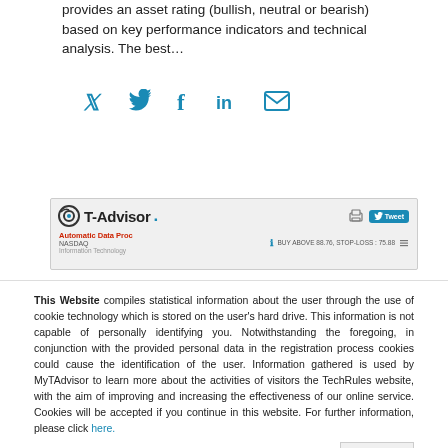provides an asset rating (bullish, neutral or bearish) based on key performance indicators and technical analysis. The best…
[Figure (infographic): Social share icons: Twitter (bird icon), Facebook (f), LinkedIn (in), Email (envelope) in teal/blue color]
[Figure (screenshot): T-Advisor banner showing logo, Automatic Data Proc, NASDAQ, Information Technology sector, with Tweet button and BUY ABOVE 88.76, STOP-LOSS: 75.88 info]
This Website compiles statistical information about the user through the use of cookie technology which is stored on the user's hard drive. This information is not capable of personally identifying you. Notwithstanding the foregoing, in conjunction with the provided personal data in the registration process cookies could cause the identification of the user. Information gathered is used by MyTAdvisor to learn more about the activities of visitors the TechRules website, with the aim of improving and increasing the effectiveness of our online service. Cookies will be accepted if you continue in this website. For further information, please click here.